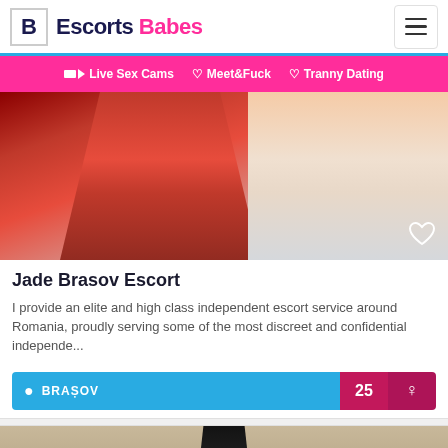Escorts Babes
📹 Live Sex Cams  ♡ Meet&Fuck  ♡ Tranny Dating
[Figure (photo): Woman in red dress lying on white bed/pillows, partial view]
Jade Brasov Escort
I provide an elite and high class independent escort service around Romania, proudly serving some of the most discreet and confidential independe...
BRAȘOV  25  ♀
[Figure (photo): Woman in black top sitting on couch, partial view at bottom of page]